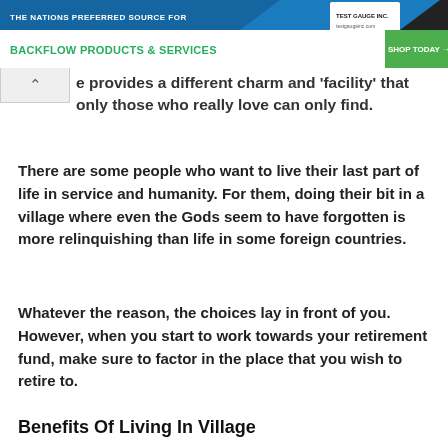[Figure (screenshot): Advertisement banner for Test Gauge Inc. - The Nations Preferred Source for Backflow Products & Services, with green Shop Today button]
e provides a different charm and 'facility' that only those who really love can only find.
There are some people who want to live their last part of life in service and humanity. For them, doing their bit in a village where even the Gods seem to have forgotten is more relinquishing than life in some foreign countries.
Whatever the reason, the choices lay in front of you. However, when you start to work towards your retirement fund, make sure to factor in the place that you wish to retire to.
Benefits Of Living In Village